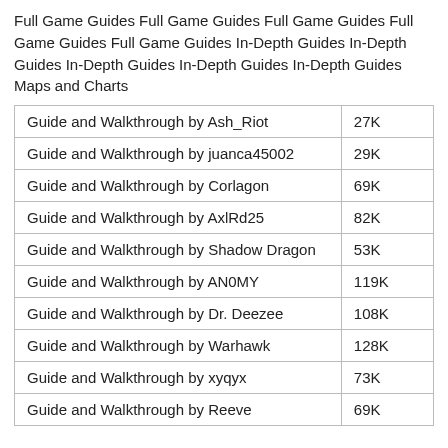Full Game Guides Full Game Guides Full Game Guides Full Game Guides Full Game Guides In-Depth Guides In-Depth Guides In-Depth Guides In-Depth Guides In-Depth Guides Maps and Charts
| Guide and Walkthrough by Ash_Riot | 27K |
| Guide and Walkthrough by juanca45002 | 29K |
| Guide and Walkthrough by Corlagon | 69K |
| Guide and Walkthrough by AxlRd25 | 82K |
| Guide and Walkthrough by Shadow Dragon | 53K |
| Guide and Walkthrough by AN0MY | 119K |
| Guide and Walkthrough by Dr. Deezee | 108K |
| Guide and Walkthrough by Warhawk | 128K |
| Guide and Walkthrough by xyqyx | 73K |
| Guide and Walkthrough by Reeve | 69K |